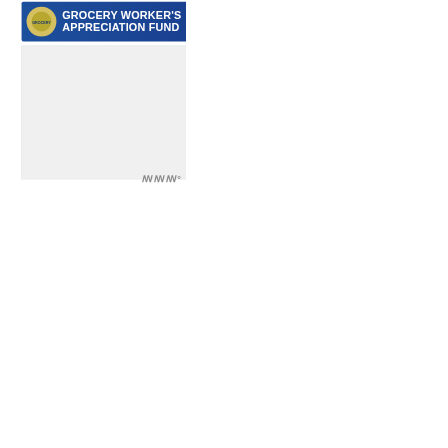[Figure (screenshot): Advertisement banner: Grocery Worker's Appreciation Fund with Kendall Jackson and United Way logos on blue/gold background]
[Figure (photo): Gray placeholder box for an embedded video or image]
Kate looked like a French maiden during the Met Gala. The dress emphasized her cleavage and boobs but she also made sure to draw attention to her colorful matching earrings and necklace.
[Figure (screenshot): What's Next widget showing Nina Dobrev, Before and...]
Si...                                        ...piece ...an...                            ...late
[Figure (screenshot): Advertisement banner: From Hello to Help, 211 is Here — Food · Housing · Utilities Assistance · Mental Health]